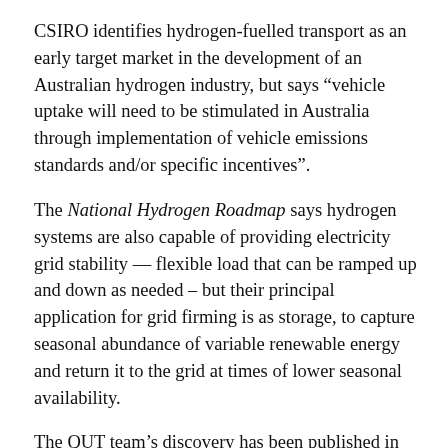CSIRO identifies hydrogen-fuelled transport as an early target market in the development of an Australian hydrogen industry, but says “vehicle uptake will need to be stimulated in Australia through implementation of vehicle emissions standards and/or specific incentives”.
The National Hydrogen Roadmap says hydrogen systems are also capable of providing electricity grid stability — flexible load that can be ramped up and down as needed – but their principal application for grid firming is as storage, to capture seasonal abundance of variable renewable energy and return it to the grid at times of lower seasonal availability.
The QUT team’s discovery has been published in the journal Advanced Functional Materials, under the title Gold Doping in a Layered Co-Ni Hydroxide System via Galvanic Replacement for Overall Electrochemical Water